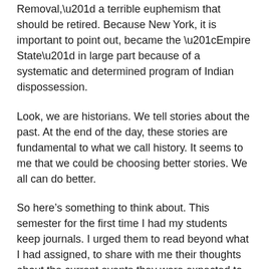Removal,” a terrible euphemism that should be retired. Because New York, it is important to point out, became the “Empire State” in large part because of a systematic and determined program of Indian dispossession.
Look, we are historians.  We tell stories about the past.  At the end of the day, these stories are fundamental to what we call history.  It seems to me that we could be choosing better stories.  We all can do better.
So here’s something to think about. This semester for the first time I had my students keep journals.  I urged them to read beyond what I had assigned, to share with me their thoughts about the current events they were expected to keep up on in the United States and Canada, and even to say those things that they were too reluctant or did not get an opportunity to say in class. Of the nearly 40 students in my Indian Law and Public Policy course, a large majority of them expressed their amazement that they had not been taught any sort of